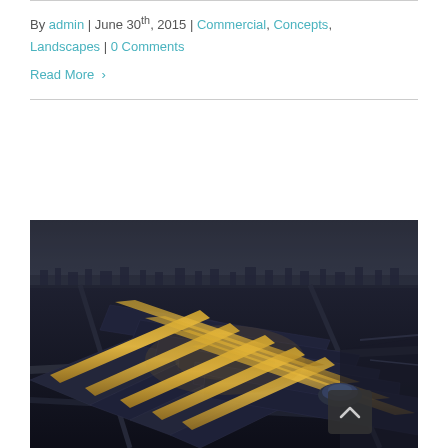By admin | June 30th, 2015 | Commercial, Concepts, Landscapes | 0 Comments
Read More >
[Figure (photo): Aerial architectural rendering of a large modern train station or transit hub at dusk, showing intersecting curved roof structures with illuminated yellow/gold skylights over parallel platforms, set against a dark cityscape and sky.]